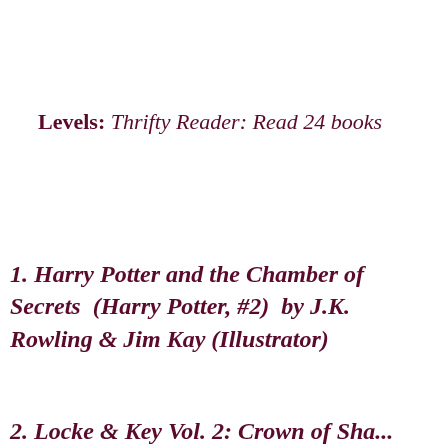Levels: Thrifty Reader: Read 24 books
1. Harry Potter and the Chamber of Secrets  (Harry Potter, #2)  by J.K. Rowling & Jim Kay (Illustrator)
2. Locke & Key Vol. 2: Crown of Sha...